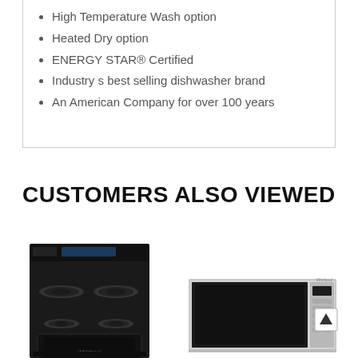High Temperature Wash option
Heated Dry option
ENERGY STAR® Certified
Industry s best selling dishwasher brand
An American Company for over 100 years
CUSTOMERS ALSO VIEWED
[Figure (photo): Black electric range/stove appliance]
[Figure (photo): Stainless steel over-the-range microwave appliance]